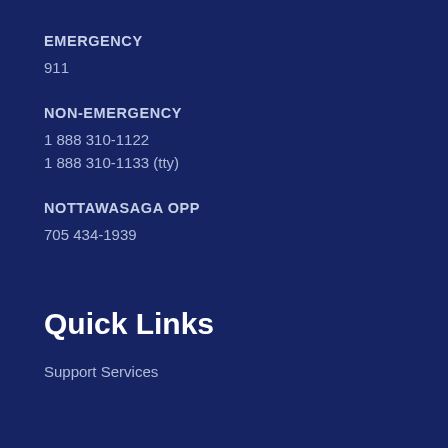EMERGENCY
911
NON-EMERGENCY
1 888 310-1122
1 888 310-1133 (tty)
NOTTAWASAGA OPP
705 434-1939
Quick Links
Support Services